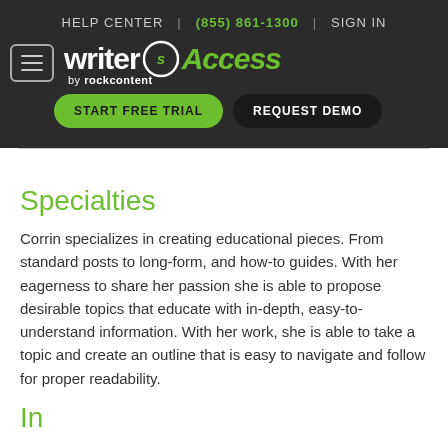HELP CENTER | (855) 861-1300 | SIGN IN
[Figure (logo): WriterAccess by rockcontent logo with hamburger menu, START FREE TRIAL and REQUEST DEMO buttons on dark background]
Specialties
Corrin specializes in creating educational pieces. From standard posts to long-form, and how-to guides. With her eagerness to share her passion she is able to propose desirable topics that educate with in-depth, easy-to-understand information. With her work, she is able to take a topic and create an outline that is easy to navigate and follow for proper readability.
Interests